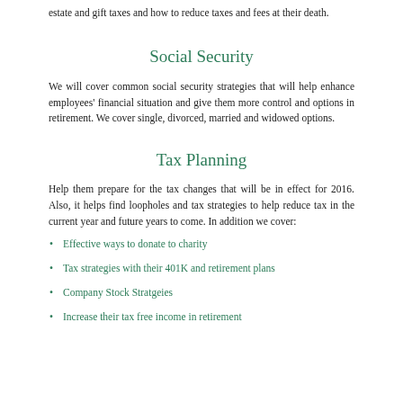estate and gift taxes and how to reduce taxes and fees at their death.
Social Security
We will cover common social security strategies that will help enhance employees' financial situation and give them more control and options in retirement. We cover single, divorced, married and widowed options.
Tax Planning
Help them prepare for the tax changes that will be in effect for 2016. Also, it helps find loopholes and tax strategies to help reduce tax in the current year and future years to come. In addition we cover:
Effective ways to donate to charity
Tax strategies with their 401K and retirement plans
Company Stock Stratgeies
Increase their tax free income in retirement